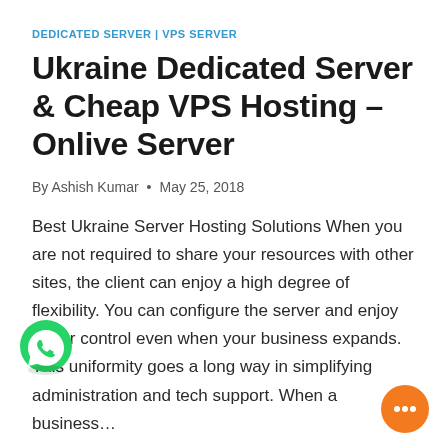DEDICATED SERVER | VPS SERVER
Ukraine Dedicated Server & Cheap VPS Hosting – Onlive Server
By Ashish Kumar • May 25, 2018
Best Ukraine Server Hosting Solutions When you are not required to share your resources with other sites, the client can enjoy a high degree of flexibility. You can configure the server and enjoy better control even when your business expands. This uniformity goes a long way in simplifying administration and tech support. When a business…